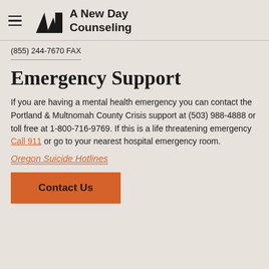A New Day Counseling
(855) 244-7670 FAX
Emergency Support
If you are having a mental health emergency you can contact the Portland & Multnomah County Crisis support at (503) 988-4888 or toll free at 1-800-716-9769. If this is a life threatening emergency Call 911 or go to your nearest hospital emergency room.
Oregon Suicide Hotlines
Contact Us